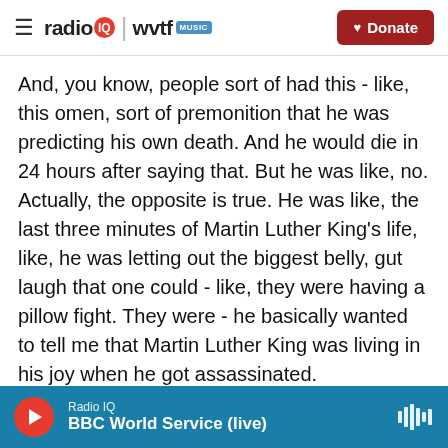radio IQ | wvtf MUSIC — Donate
And, you know, people sort of had this - like, this omen, sort of premonition that he was predicting his own death. And he would die in 24 hours after saying that. But he was like, no. Actually, the opposite is true. He was like, the last three minutes of Martin Luther King's life, like, he was letting out the biggest belly, gut laugh that one could - like, they were having a pillow fight. They were - he basically wanted to tell me that Martin Luther King was living in his joy when he got assassinated.
Like, they were - I guess Jesse Jackson was objecting to wearing a tie to dinner. He was like, yo
Radio IQ — BBC World Service (live)